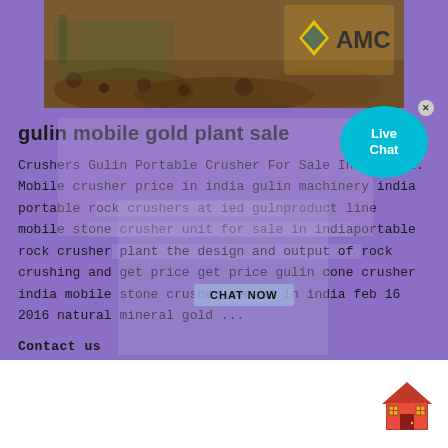[Figure (photo): Photo banner of mining/crushing equipment with rocks and gravel, with AMC logo (yellow diamond and text) on the right side]
gulin mobile gold plant sale
Crushers Gulin Portable Crusher For Sale Indiahenan. Mobile crusher price in india gulin machinery india portable rock crushers at ied gulnproduct line mobile stone crusher unit for sale in indiaportable rock crusher plant the design and output of rock crushing and get price get price gulin cone crusher india mobile stone crusher demand in india feb 16 2016 natural mineral gold ...
Contact us
[Figure (illustration): House/home icon in red and brown at bottom right corner]